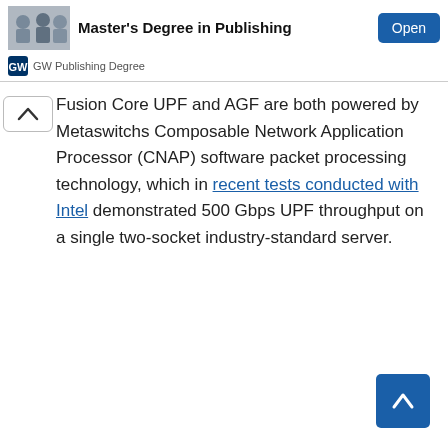[Figure (screenshot): Advertisement banner for GW Master's Degree in Publishing with an Open button]
Fusion Core UPF and AGF are both powered by Metaswitchs Composable Network Application Processor (CNAP) software packet processing technology, which in recent tests conducted with Intel demonstrated 500 Gbps UPF throughput on a single two-socket industry-standard server.